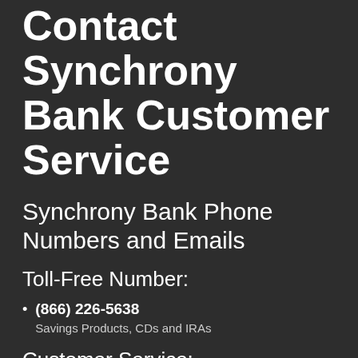Contact Synchrony Bank Customer Service
Synchrony Bank Phone Numbers and Emails
Toll-Free Number:
(866) 226-5638 — Savings Products, CDs and IRAs
Customer Service:
(866) 419-4096